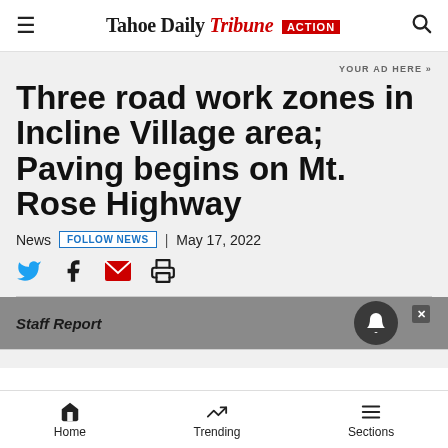Tahoe Daily Tribune action
YOUR AD HERE »
Three road work zones in Incline Village area; Paving begins on Mt. Rose Highway
News  FOLLOW NEWS  | May 17, 2022
Staff Report
Home  Trending  Sections